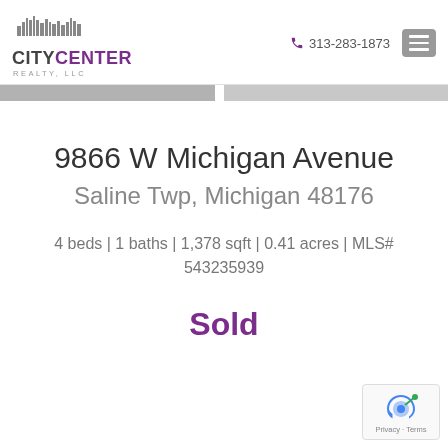[Figure (logo): City Center Realty LLC logo with skyline silhouette above text CITYCENTER REALTY, LLC in grey and purple]
313-283-1873
9866 W Michigan Avenue
Saline Twp, Michigan 48176
4 beds | 1 baths | 1,378 sqft | 0.41 acres | MLS# 543235939
Sold